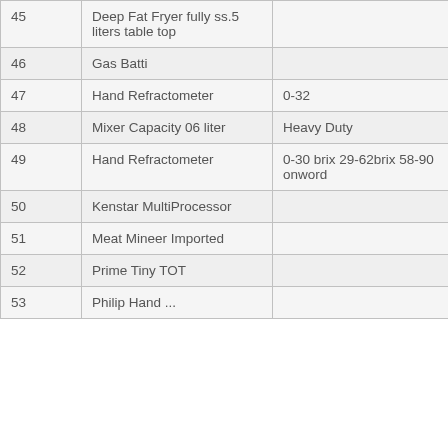| Sr. No. | Item | Specification | Qty |
| --- | --- | --- | --- |
| 45 | Deep Fat Fryer fully ss.5 liters table top |  | 01 |
| 46 | Gas Batti |  | 04 |
| 47 | Hand Refractometer | 0-32 | Scrap |
| 48 | Mixer Capacity 06 liter | Heavy Duty | 01 |
| 49 | Hand Refractometer | 0-30 brix 29-62brix 58-90 onword | 7 Scrap |
| 50 | Kenstar MultiProcessor |  | 01 |
| 51 | Meat Mineer Imported |  | 01 |
| 52 | Prime Tiny TOT |  | 02 |
| 53 | Philip Hand ... |  | 01 |